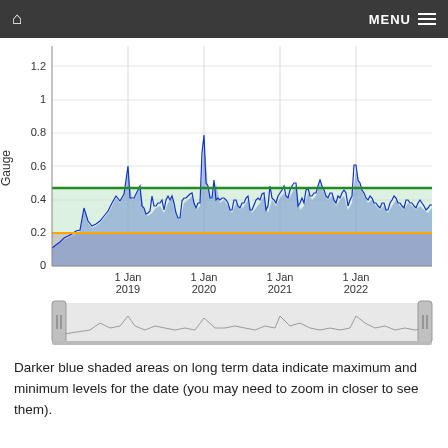Home | MENU
[Figure (continuous-plot): Time series line chart showing gauge levels from early 2018 to late 2022. Blue line with shaded area shows fluctuating gauge readings mostly between 0.2 and 0.5, with several spikes reaching up to 1.2. A horizontal green line marks approximately 0.47 (upper threshold) and an orange line marks approximately 0.2 (lower threshold). The region between the thresholds is shaded light green; below the lower threshold is shaded gray. X-axis shows dates: 1 Jan 2019, 1 Jan 2020, 1 Jan 2021, 1 Jan 2022. Y-axis labeled 'Gauge' with values 0.2, 0.4, 0.6, 0.8, 1, 1.2. A minimap/navigator is shown below the main chart.]
Darker blue shaded areas on long term data indicate maximum and minimum levels for the date (you may need to zoom in closer to see them).